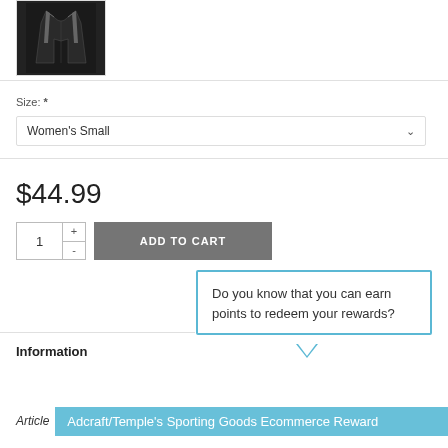[Figure (photo): Product image of a black athletic jacket/sportswear item on a white background]
Size: *
Women's Small
$44.99
1
ADD TO CART
Do you know that you can earn points to redeem your rewards?
Information
Article  Adcraft/Temple's Sporting Goods Ecommerce Reward